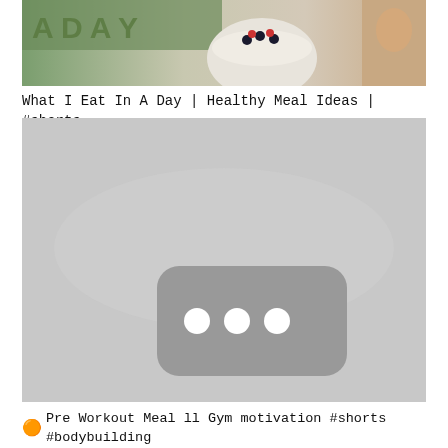[Figure (photo): Thumbnail image showing food bowls with berries and oats, greens, and a person's body - titled 'What I Eat In A Day']
What I Eat In A Day | Healthy Meal Ideas | #shorts
[Figure (photo): Gray placeholder thumbnail with a dark rounded rectangle containing three white dots in the center]
🟠 Pre Workout Meal ll Gym motivation #shorts #bodybuilding